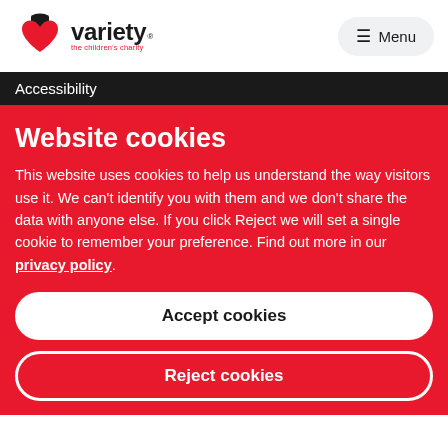[Figure (logo): Variety the children's charity logo with heart and top hat icon]
≡ Menu
Accessibility
Website cookies
This website uses cookies to help us understand the way visitors use it. We can't identify you with them and we don't share the data with anyone else. If you click Reject we will set a single cookie to remember your preference. Find out more in our privacy policy.
Accept cookies
Reject cookies